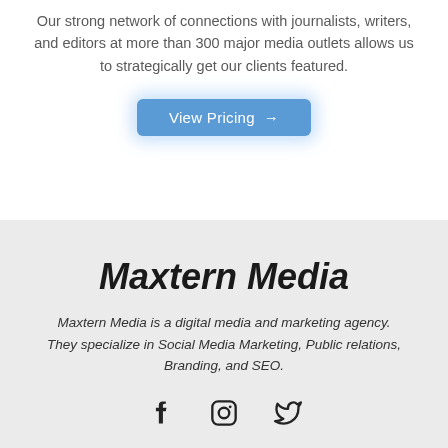Our strong network of connections with journalists, writers, and editors at more than 300 major media outlets allows us to strategically get our clients featured.
[Figure (other): Blue button labeled 'View Pricing' with a right arrow, with a blue glow effect]
Maxtern Media
Maxtern Media is a digital media and marketing agency. They specialize in Social Media Marketing, Public relations, Branding, and SEO.
[Figure (other): Social media icons: Facebook, Instagram, Twitter]